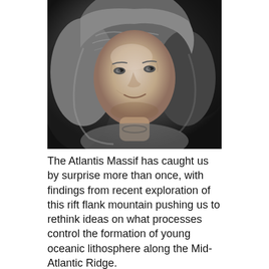[Figure (photo): Black and white portrait photograph of an older woman with long wavy gray hair, smiling slightly, looking upward and to the side. The photo has a dark background.]
The Atlantis Massif has caught us by surprise more than once, with findings from recent exploration of this rift flank mountain pushing us to rethink ideas on what processes control the formation of young oceanic lithosphere along the Mid-Atlantic Ridge.